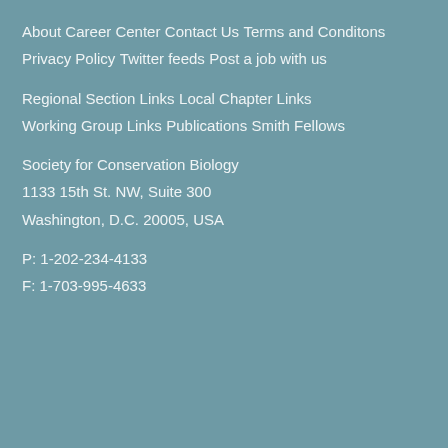About Career Center
Contact Us
Terms and Conditons
Privacy Policy
Twitter feeds
Post a job with us
Regional Section Links
Local Chapter Links
Working Group Links
Publications
Smith Fellows
Society for Conservation Biology
1133 15th St. NW, Suite 300
Washington, D.C. 20005, USA
P: 1-202-234-4133
F: 1-703-995-4633